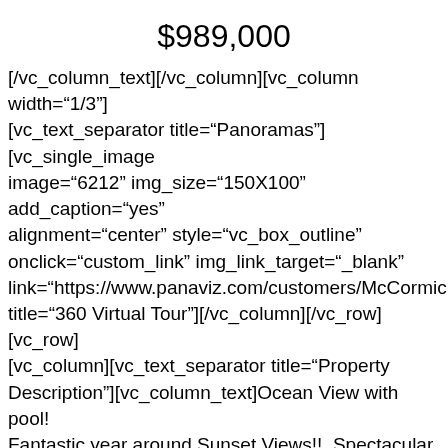$989,000
[/vc_column_text][/vc_column][vc_column width="1/3"][vc_text_separator title="Panoramas"][vc_single_image image="6212" img_size="150X100" add_caption="yes" alignment="center" style="vc_box_outline" onclick="custom_link" img_link_target="_blank" link="https://www.panaviz.com/customers/McCormick/" title="360 Virtual Tour"][/vc_column][/vc_row][vc_row][vc_column][vc_text_separator title="Property Description"][vc_column_text]Ocean View with pool! Fantastic year around Sunset Views!!  Spectacular sweeping ocean views from this premium, rarely available Alii Heights Mauka home.
A very private 3 bedroom, 2 bath, 3 car garage home